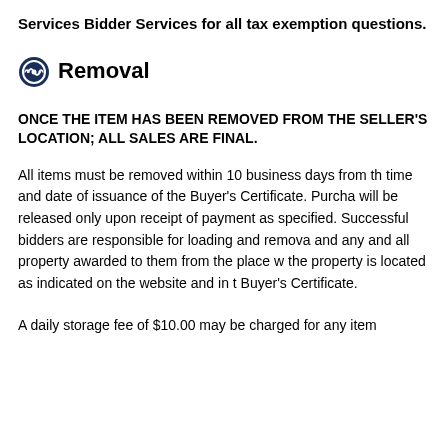Services Bidder Services for all tax exemption questions.
Removal
ONCE THE ITEM HAS BEEN REMOVED FROM THE SELLER'S LOCATION; ALL SALES ARE FINAL.
All items must be removed within 10 business days from the time and date of issuance of the Buyer's Certificate. Purchases will be released only upon receipt of payment as specified. Successful bidders are responsible for loading and removal of and any and all property awarded to them from the place where the property is located as indicated on the website and in the Buyer's Certificate.
A daily storage fee of $10.00 may be charged for any item